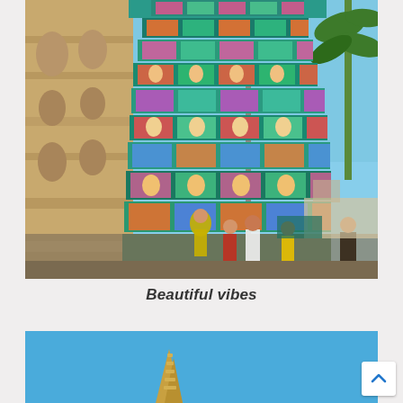[Figure (photo): Colorful Hindu temple gopuram (tower) with elaborate sculptures and decorations in teal, pink, and gold, with people in traditional clothing gathered at the base. Stone carvings visible on left side. Palm tree on right. Blue sky background.]
Beautiful vibes
[Figure (photo): Another temple structure against a bright blue sky, partially visible at bottom of page with a small golden spire/pagoda visible.]